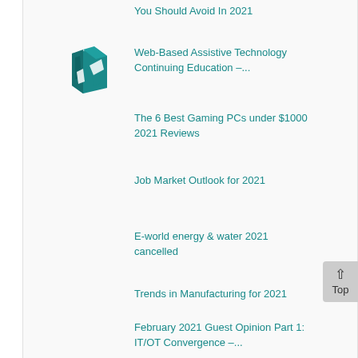You Should Avoid In 2021
[Figure (illustration): Teal icon showing hands interacting with a book or document]
Web-Based Assistive Technology Continuing Education –...
The 6 Best Gaming PCs under $1000 2021 Reviews
Job Market Outlook for 2021
E-world energy & water 2021 cancelled
Trends in Manufacturing for 2021
February 2021 Guest Opinion Part 1: IT/OT Convergence –...